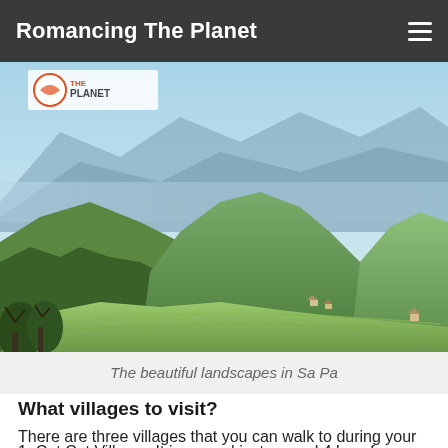Romancing The Planet
[Figure (photo): Scenic landscape photograph of Sa Pa, Vietnam, showing green terraced rice fields on mountain slopes with a small village and misty blue mountains in the background. A logo reading 'THEPLANET' appears in the upper left corner of the image.]
The beautiful landscapes in Sa Pa
What villages to visit?
There are three villages that you can walk to during your visit to Sa Pa.
1. Cat Cat Village : It is around just around 4 kms from